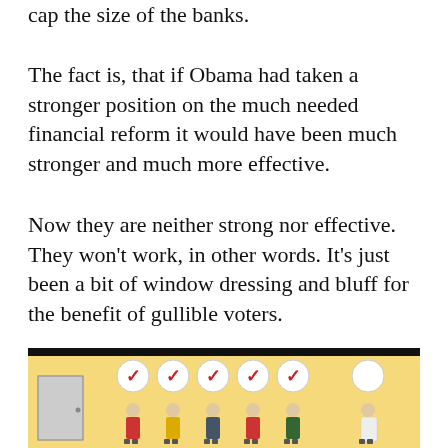cap the size of the banks.
The fact is, that if Obama had taken a stronger position on the much needed financial reform it would have been much stronger and much more effective.
Now they are neither strong nor effective. They won't work, in other words. It's just been a bit of window dressing and bluff for the benefit of gullible voters.
[Figure (illustration): A cartoon/illustration showing a line of people (voters) with red checkmark speech bubbles above five of them, while the last person on the right (in white coat) has an empty/blank speech bubble. A door is visible on the left side. The background is yellow.]